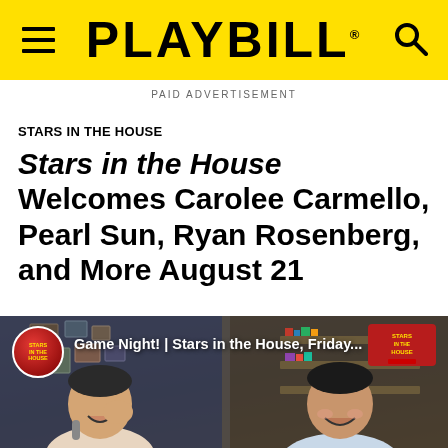PLAYBILL
PAID ADVERTISEMENT
STARS IN THE HOUSE
Stars in the House Welcomes Carolee Carmello, Pearl Sun, Ryan Rosenberg, and More August 21
[Figure (screenshot): Video thumbnail showing two people smiling/laughing during a Stars in the House Game Night stream. Text overlay reads: Game Night! | Stars in the House, Friday...]